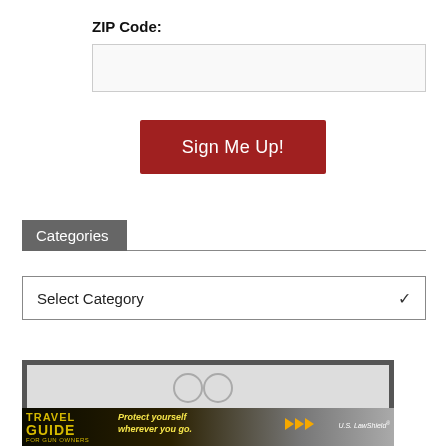ZIP Code:
[Figure (screenshot): ZIP code text input field (empty, light gray background with border)]
[Figure (screenshot): Sign Me Up! button with dark red/crimson background and white text]
Categories
[Figure (screenshot): Select Category dropdown widget with chevron/arrow on right side]
[Figure (infographic): Travel Guide for Gun Owners advertisement banner. Shows 'TRAVEL GUIDE FOR GUN OWNERS' in gold text on dark background. Text reads 'Protect yourself wherever you go.' with orange arrow icons and U.S. LawShield branding.]